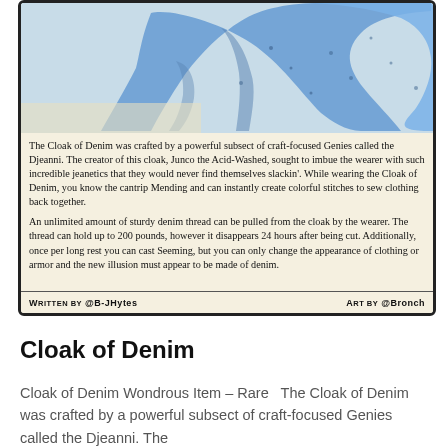[Figure (illustration): A trading card for 'Cloak of Denim' showing a blue denim cloak illustration at the top, flavor and rules text in the middle, and credits at the bottom. The card has a parchment-colored background. The art shows a flowing blue denim cloak.]
Cloak of Denim
Cloak of Denim Wondrous Item – Rare  The Cloak of Denim was crafted by a powerful subsect of craft-focused Genies called the Djeanni. The